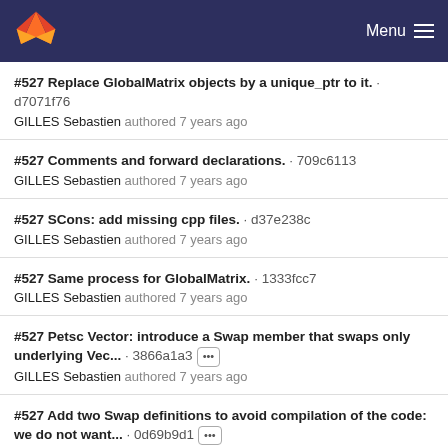Menu
#527 Replace GlobalMatrix objects by a unique_ptr to it. · d7071f76
GILLES Sebastien authored 7 years ago
#527 Comments and forward declarations. · 709c6113
GILLES Sebastien authored 7 years ago
#527 SCons: add missing cpp files. · d37e238c
GILLES Sebastien authored 7 years ago
#527 Same process for GlobalMatrix. · 1333fcc7
GILLES Sebastien authored 7 years ago
#527 Petsc Vector: introduce a Swap member that swaps only underlying Vec... · 3866a1a3 ···
GILLES Sebastien authored 7 years ago
#527 Add two Swap definitions to avoid compilation of the code: we do not want... · 0d69b9d1 ···